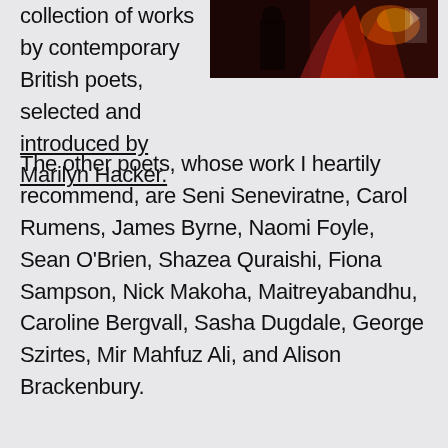collection of works by contemporary British poets, selected and introduced by Marilyn Hacker.
[Figure (photo): Dark image showing what appears to be a performance or artistic scene with red/warm-toned lighting and a figure.]
The other poets, whose work I heartily recommend, are Seni Seneviratne, Carol Rumens, James Byrne, Naomi Foyle, Sean O'Brien, Shazea Quraishi, Fiona Sampson, Nick Makoha, Maitreyabandhu, Caroline Bergvall, Sasha Dugdale, George Szirtes, Mir Mahfuz Ali, and Alison Brackenbury.